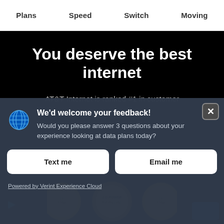Plans  Speed  Switch  Moving
You deserve the best internet
AT&T Internet is ranked #1 in customer
[Figure (screenshot): AT&T feedback modal overlay with AT&T globe logo, heading 'We'd welcome your feedback!', body text 'Would you please answer 3 questions about your experience looking at data plans today?', two buttons 'Text me' and 'Email me', and a 'Powered by Verint Experience Cloud' link. A close button (X) appears top-right.]
[Figure (photo): JD Power award medals shown at the bottom of the page on a dark background, with a blue play arrow on the left and a blue badge on the right.]